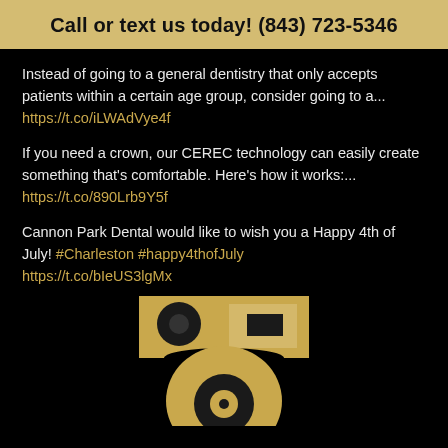Call or text us today! (843) 723-5346
Instead of going to a general dentistry that only accepts patients within a certain age group, consider going to a... https://t.co/iLWAdVye4f
If you need a crown, our CEREC technology can easily create something that's comfortable. Here's how it works:... https://t.co/890Lrb9Y5f
Cannon Park Dental would like to wish you a Happy 4th of July! #Charleston #happy4thofJuly https://t.co/bIeUS3lgMx
[Figure (logo): Cannon Park Dental logo — gold and black geometric dental/camera-style icon with circular and rectangular shapes]